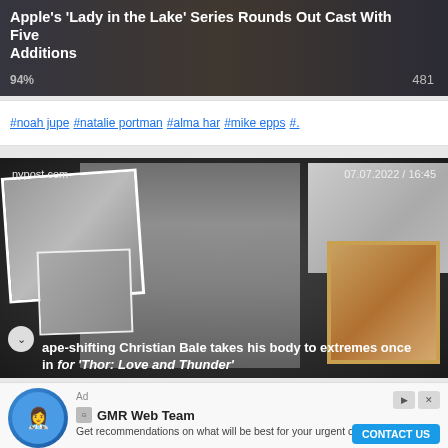[Figure (screenshot): News article thumbnail for Apple's Lady in the Lake series with dark background, showing 94% rating and 481 views]
Apple's 'Lady in the Lake' Series Rounds Out Cast With Five Additions
94%  481
#noah jupe  #natalie portman  #alma har  #mike epps  #.
[Figure (photo): Photo collage from nypost.com dated 07.07.2022 / 16:45 showing Christian Bale body transformation photos in black and white]
Shape-shifting Christian Bale takes his body to extremes once again for 'Thor: Love and Thunder'
[Figure (infographic): Advertisement for GMR Web Team showing a nurse avatar character with the text: Get recommendations on what will be best for your urgent care practice. CONTACT US button]